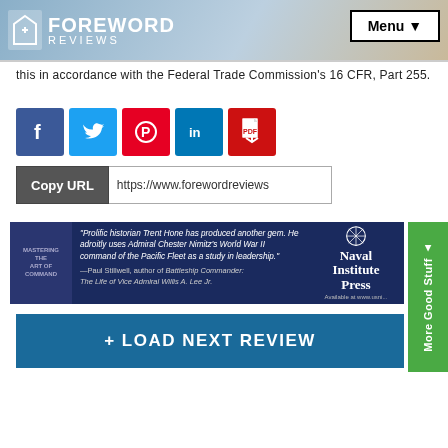FOREWORD REVIEWS | Menu
this in accordance with the Federal Trade Commission's 16 CFR, Part 255.
[Figure (other): Social share buttons: Facebook, Twitter, Pinterest, LinkedIn, PDF]
[Figure (other): Copy URL bar showing https://www.forewordreviews]
[Figure (other): Naval Institute Press advertisement banner with book cover and quote by Paul Stillwell]
[Figure (other): Load Next Review button]
[Figure (other): More Good Stuff green sidebar tab]